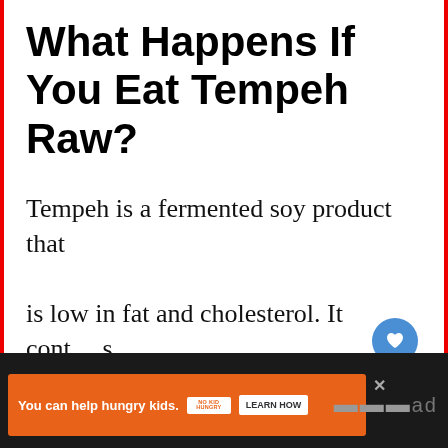What Happens If You Eat Tempeh Raw?
Tempeh is a fermented soy product that is low in fat and cholesterol. It cont…s protein, fiber, B vitamins, iron,…
[Figure (screenshot): Social media UI overlay: heart/like button (blue circle) and share button (grey circle with share icon)]
[Figure (screenshot): "What's Next" panel showing a thumbnail image and text "How long does it take..."]
[Figure (screenshot): Advertisement banner at bottom: orange background, text "You can help hungry kids." with No Kid Hungry logo and LEARN HOW button, on dark background bar]